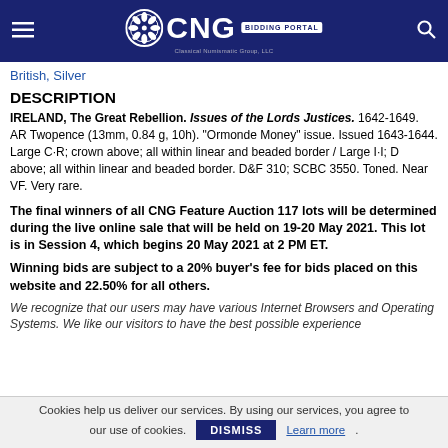CNG BIDDING PORTAL
British, Silver
DESCRIPTION
IRELAND, The Great Rebellion. Issues of the Lords Justices. 1642-1649. AR Twopence (13mm, 0.84 g, 10h). "Ormonde Money" issue. Issued 1643-1644. Large C·R; crown above; all within linear and beaded border / Large I·I; D above; all within linear and beaded border. D&F 310; SCBC 3550. Toned. Near VF. Very rare.
The final winners of all CNG Feature Auction 117 lots will be determined during the live online sale that will be held on 19-20 May 2021. This lot is in Session 4, which begins 20 May 2021 at 2 PM ET.
Winning bids are subject to a 20% buyer's fee for bids placed on this website and 22.50% for all others.
We recognize that our users may have various Internet Browsers and Operating Systems. We like our visitors to have the best possible experience
Cookies help us deliver our services. By using our services, you agree to our use of cookies. DISMISS Learn more.